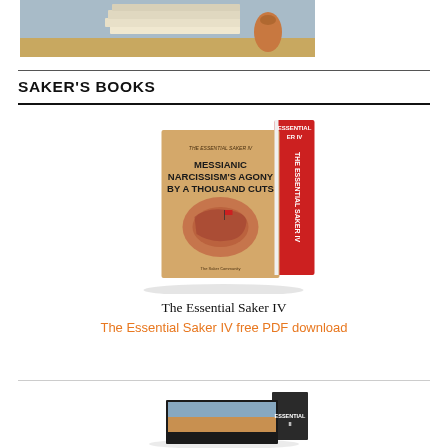[Figure (photo): Stacked books on a wooden surface with a blurred background]
SAKER'S BOOKS
[Figure (photo): Book cover of 'The Essential Saker IV: Messianic Narcissism's Agony by a Thousand Cuts' shown as a 3D book with front and spine visible]
The Essential Saker IV
The Essential Saker IV free PDF download
[Figure (photo): Book cover of The Essential Saker II shown as a 3D book, partially visible at bottom of page]